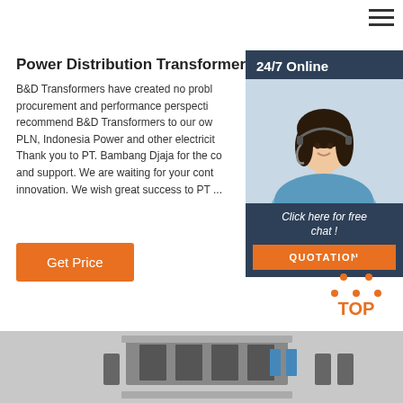Power Distribution Transformer
B&D Transformers have created no probl... procurement and performance perspecti... recommend B&D Transformers to our ow... PLN, Indonesia Power and other electricit... Thank you to PT. Bambang Djaja for the co... and support. We are waiting for your cont... innovation. We wish great success to PT ...
[Figure (photo): Customer service representative with headset, 24/7 Online sidebar panel with photo and QUOTATION button]
Get Price
Click here for free chat !
QUOTATION
[Figure (logo): TOP logo with orange dots in triangle pattern and orange text]
[Figure (photo): Industrial transformer equipment photo at bottom of page]